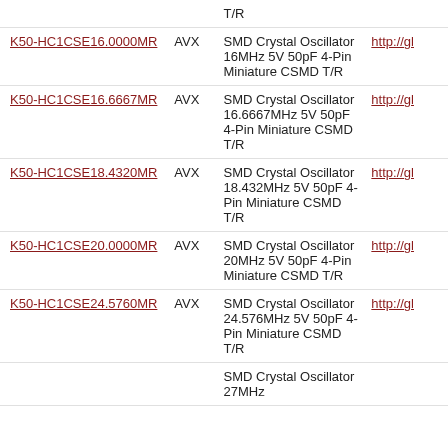| Part Number | Manufacturer | Description | Link |
| --- | --- | --- | --- |
| K50-HC1CSE16.0000MR | AVX | SMD Crystal Oscillator 16MHz 5V 50pF 4-Pin Miniature CSMD T/R | http://gl... |
| K50-HC1CSE16.6667MR | AVX | SMD Crystal Oscillator 16.6667MHz 5V 50pF 4-Pin Miniature CSMD T/R | http://gl... |
| K50-HC1CSE18.4320MR | AVX | SMD Crystal Oscillator 18.432MHz 5V 50pF 4-Pin Miniature CSMD T/R | http://gl... |
| K50-HC1CSE20.0000MR | AVX | SMD Crystal Oscillator 20MHz 5V 50pF 4-Pin Miniature CSMD T/R | http://gl... |
| K50-HC1CSE24.5760MR | AVX | SMD Crystal Oscillator 24.576MHz 5V 50pF 4-Pin Miniature CSMD T/R | http://gl... |
|  |  | SMD Crystal Oscillator 27MHz... |  |